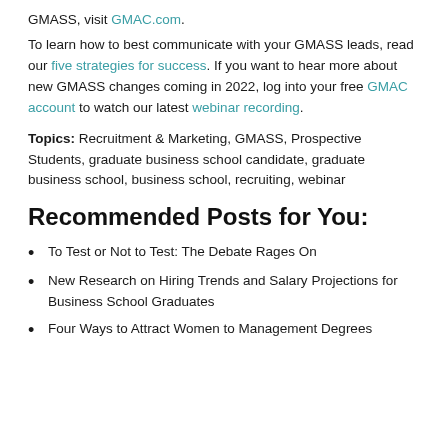GMASS, visit GMAC.com.
To learn how to best communicate with your GMASS leads, read our five strategies for success. If you want to hear more about new GMASS changes coming in 2022, log into your free GMAC account to watch our latest webinar recording.
Topics: Recruitment & Marketing, GMASS, Prospective Students, graduate business school candidate, graduate business school, business school, recruiting, webinar
Recommended Posts for You:
To Test or Not to Test: The Debate Rages On
New Research on Hiring Trends and Salary Projections for Business School Graduates
Four Ways to Attract Women to Management Degrees